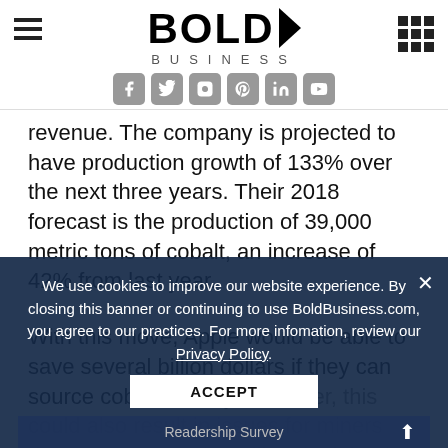Bold Business
revenue. The company is projected to have production growth of 133% over the next three years. Their 2018 forecast is the production of 39,000 metric tons of cobalt, an increase of 42% from last year.
With this move, Apple would be able to save several billion dollars if they can source cobalt directly. However, this could also result in issues for miners due to concerns about illegal mining in Africa as well as child labor issues. Last year, Apple released a list of cob...
We use cookies to improve our website experience. By closing this banner or continuing to use BoldBusiness.com, you agree to our practices. For more infomation, review our Privacy Policy. ACCEPT